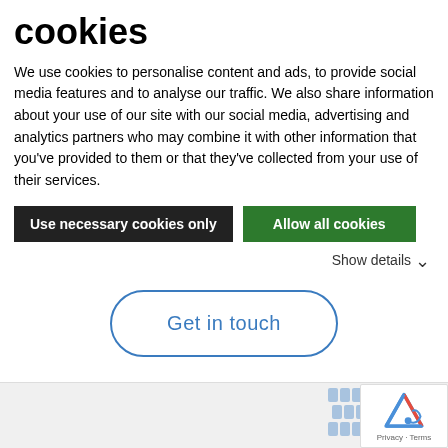cookies
We use cookies to personalise content and ads, to provide social media features and to analyse our traffic. We also share information about your use of our site with our social media, advertising and analytics partners who may combine it with other information that you've provided to them or that they've collected from your use of their services.
Use necessary cookies only | Allow all cookies
Show details
and serviceable roads within budget constraints.
[Figure (other): Get in touch button - rounded rectangle outline button with blue text]
[Figure (logo): UltraGrip logo with blue text and tread pattern graphic, plus reCAPTCHA badge in corner]